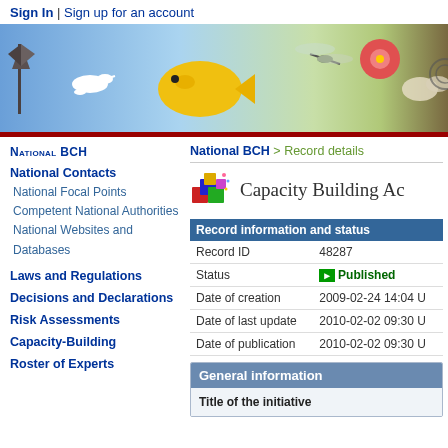Sign In | Sign up for an account
[Figure (illustration): BCH biodiversity banner with windmill, egret, yellow fish, mosquito, hibiscus flower, and butterfly on a blue/green gradient background]
National BCH
National Contacts
National Focal Points
Competent National Authorities
National Websites and Databases
Laws and Regulations
Decisions and Declarations
Risk Assessments
Capacity-Building
Roster of Experts
National BCH > Record details
Capacity Building Ac
| Record information and status |  |
| --- | --- |
| Record ID | 48287 |
| Status | Published |
| Date of creation | 2009-02-24 14:04 U |
| Date of last update | 2010-02-02 09:30 U |
| Date of publication | 2010-02-02 09:30 U |
General information
Title of the initiative